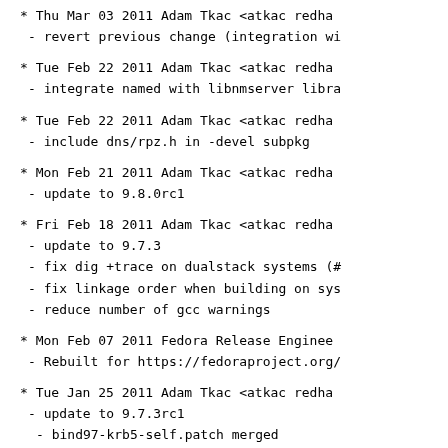* Thu Mar 03 2011 Adam Tkac <atkac redha
- revert previous change (integration wi
* Tue Feb 22 2011 Adam Tkac <atkac redha
- integrate named with libnmserver libra
* Tue Feb 22 2011 Adam Tkac <atkac redha
- include dns/rpz.h in -devel subpkg
* Mon Feb 21 2011 Adam Tkac <atkac redha
- update to 9.8.0rc1
* Fri Feb 18 2011 Adam Tkac <atkac redha
- update to 9.7.3
- fix dig +trace on dualstack systems (#
- fix linkage order when building on sys
- reduce number of gcc warnings
* Mon Feb 07 2011 Fedora Release Enginee
- Rebuilt for https://fedoraproject.org/
* Tue Jan 25 2011 Adam Tkac <atkac redha
- update to 9.7.3rc1
  - bind97-krb5-self.patch merged